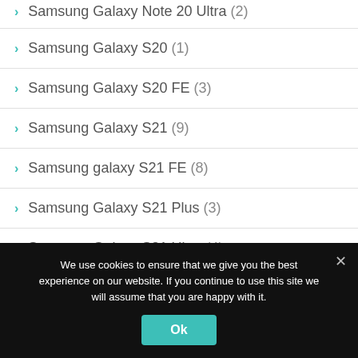Samsung Galaxy Note 20 Ultra (2)
Samsung Galaxy S20 (1)
Samsung Galaxy S20 FE (3)
Samsung Galaxy S21 (9)
Samsung galaxy S21 FE (8)
Samsung Galaxy S21 Plus (3)
Samsung Galaxy S21 Ultra (4)
Samsung Galaxy S22 (5)
We use cookies to ensure that we give you the best experience on our website. If you continue to use this site we will assume that you are happy with it.